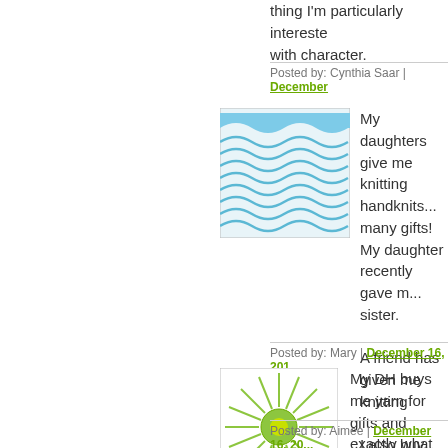thing I'm particularly interested... with character.
Posted by: Cynthia Saar | December...
[Figure (illustration): Blue wavy lines avatar image]
My daughters give me knitting handknits... many gifts!
My daughter recently gave m... sister.

A friend has given me knitting

I also buy yarn and bags for g...

And birthdays, and mother's d...
Posted by: Mary | December 16, 201...
[Figure (illustration): Green sunburst avatar image]
My DH buys me yarn for gifts and exactly what colors I like... yarn that I haven't liked.
Posted by: Aimee | December 16, 20...